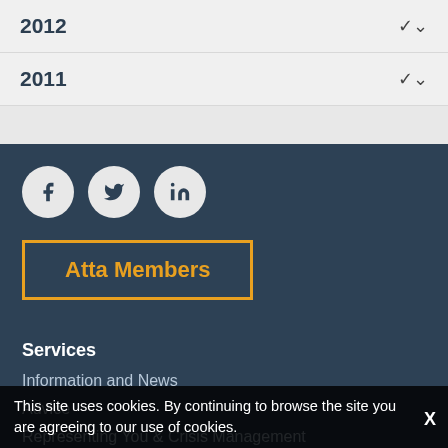2012
2011
[Figure (other): Social media icons: Facebook, Twitter, LinkedIn]
Atta Members
Services
Information and News
Advice
Representing You & Crisis Management
Webinars
Trade Exhibitions & Roadshows
Networking Events & Seminars
Trade Dinners
About ATTA®
This site uses cookies. By continuing to browse the site you are agreeing to our use of cookies.